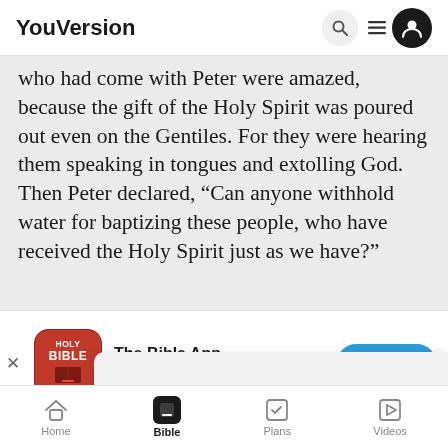YouVersion
who had come with Peter were amazed, because the gift of the Holy Spirit was poured out even on the Gentiles. For they were hearing them speaking in tongues and extolling God. Then Peter declared, “Can anyone withhold water for baptizing these people, who have received the Holy Spirit just as we have?”
[Figure (screenshot): App download banner for The Bible App with red Holy Bible icon, 5 stars, 7.9M ratings, and a blue Download button]
YouVersion uses cookies to personalize your experience. By using our website, you accept our use of cookies as described in our Privacy Policy.
Home  Bible  Plans  Videos